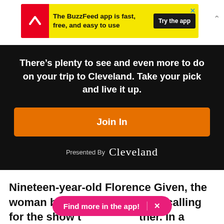[Figure (screenshot): BuzzFeed app advertisement banner with yellow background, red circle icon with white arrow, text 'The BuzzFeed app is fast, free, and easy to use' and dark 'Try the app' button]
There’s plenty to see and even more to do on your trip to Cleveland. Take your pick and live it up.
Join In
Presented By Cleveland
Nineteen-year-old Florence Given, the woman behind the petition, is calling for the show t…ther. In a statement to BuzzFeed News, she said:
Find more in the app!